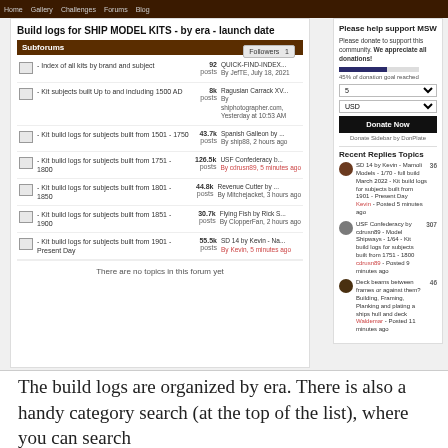[Figure (screenshot): Screenshot of a ship model kit forum page showing subforum listing for Build logs for SHIP MODEL KITS by era/launch date, with post counts and latest topics, alongside a donation sidebar and recent replies.]
The build logs are organized by era. There is also a handy category search (at the top of the list), where you can search